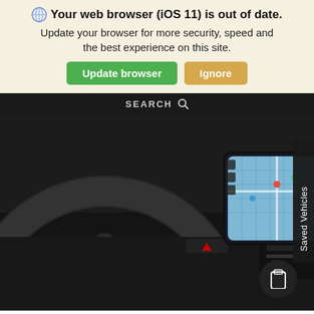Your web browser (iOS 11) is out of date. Update your browser for more security, speed and the best experience on this site.
Update browser
Ignore
SEARCH
[Figure (photo): Interior of a Mazda car showing the steering wheel with Mazda logo and a GPS navigation touchscreen display mounted on the dashboard]
Saved Vehicles
Search
Contact
Saved